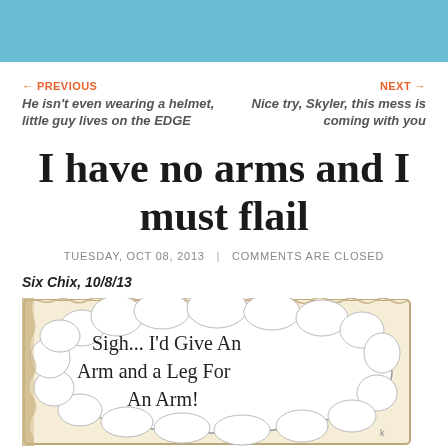← PREVIOUS
He isn't even wearing a helmet, little guy lives on the EDGE
NEXT →
Nice try, Skyler, this mess is coming with you
I have no arms and I must flail
TUESDAY, OCT 08, 2013 | COMMENTS ARE CLOSED
Six Chix, 10/8/13
[Figure (illustration): Comic strip showing a speech bubble that reads: SIGH... I'D GIVE AN ARM AND A LEG FOR AN ARM!]